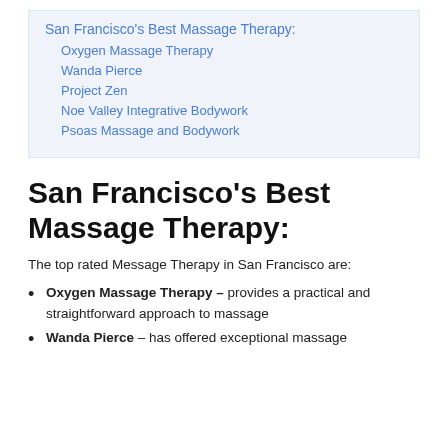San Francisco's Best Massage Therapy:
Oxygen Massage Therapy
Wanda Pierce
Project Zen
Noe Valley Integrative Bodywork
Psoas Massage and Bodywork
San Francisco's Best Massage Therapy:
The top rated Message Therapy in San Francisco are:
Oxygen Massage Therapy – provides a practical and straightforward approach to massage
Wanda Pierce – has offered exceptional massage